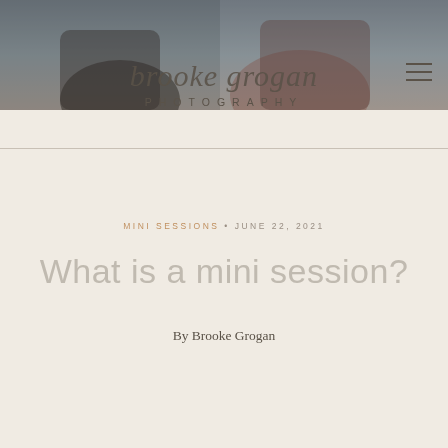[Figure (photo): Header photo showing two people outdoors, partially visible at the top of the page]
brooke grogan PHOTOGRAPHY
MINI SESSIONS • JUNE 22, 2021
What is a mini session?
By Brooke Grogan